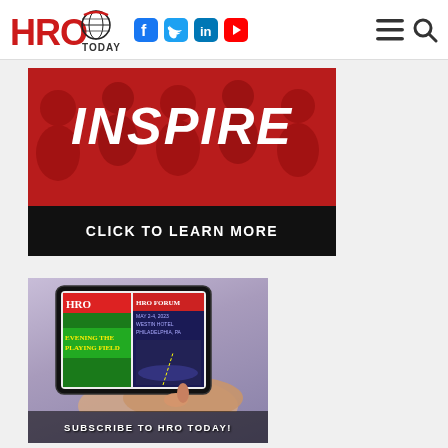[Figure (logo): HRO Today logo with globe icon in red and black]
[Figure (illustration): Social media icons: Facebook, Twitter, LinkedIn, YouTube]
[Figure (infographic): Red banner with large white italic text INSPIRE and black bar at bottom reading CLICK TO LEARN MORE]
[Figure (photo): Person holding tablet showing HRO Today magazine and HRO Forum event with text SUBSCRIBE TO HRO TODAY at bottom]